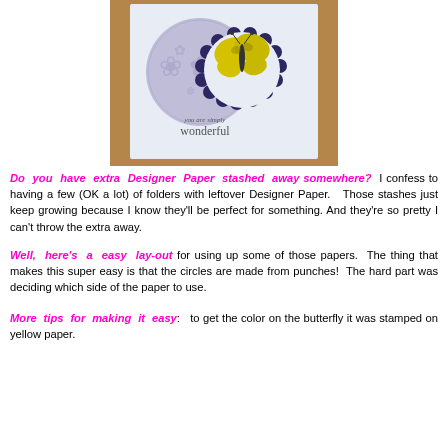[Figure (photo): A handmade greeting card on a wooden surface. The card features a large light purple patterned circle on the left and a scalloped-edge dark purple circle frame on the right with a yellow butterfly stamp. Text on the card reads 'you are simply wonderful'.]
Do you have extra Designer Paper stashed away somewhere?  I confess to having a few (OK a lot) of folders with leftover Designer Paper.   Those stashes just keep growing because I know they'll be perfect for something. And they're so pretty I can't throw the extra away.
Well, here's a easy lay-out for using up some of those papers.  The thing that makes this super easy is that the circles are made from punches!  The hard part was deciding which side of the paper to use.
More tips for making it easy:   to get the color on the butterfly it was stamped on yellow paper.